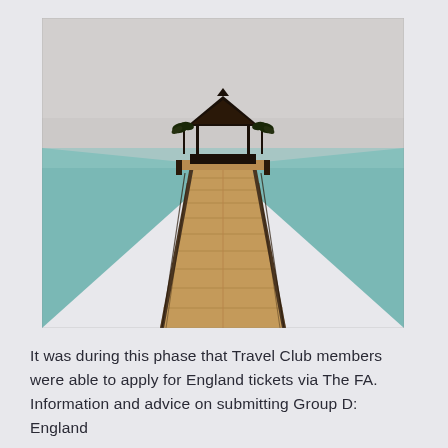[Figure (photo): A long wooden pier/boardwalk extending over calm teal ocean water toward a thatched-roof gazebo or pavilion structure at the end, flanked by palm trees. The sky is pale grey. The photo is taken from a low perspective looking straight down the length of the pier, creating strong perspective lines.]
It was during this phase that Travel Club members were able to apply for England tickets via The FA. Information and advice on submitting Group D: England